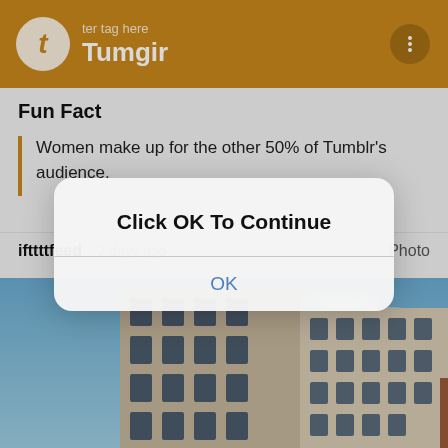[Figure (screenshot): Tumgir app navigation bar with orange background, Tumgir logo (circle with 't') and title 'Tumgir', subtitle 'ter tag here', three-dot menu icon on right]
Fun Fact
Women make up for the other 50% of Tumblr's audience.
ifttttfeed · 2 days ago   Photo
[Figure (photo): Modern multi-story building with blue sky background]
[Figure (screenshot): Modal dialog overlay with title 'Click OK To Continue' and an OK button]